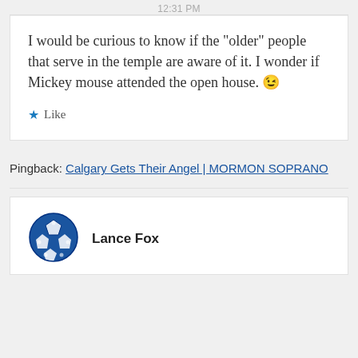12:31 PM
I would be curious to know if the “older” people that serve in the temple are aware of it. I wonder if Mickey mouse attended the open house. 😉
★ Like
Pingback: Calgary Gets Their Angel | MORMON SOPRANO
Lance Fox